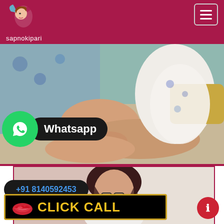sapnokipari
[Figure (photo): Photo of a woman in white dress seated]
Whatsapp
+91 8140592453
[Figure (photo): Photo of a woman with dark hair]
CLICK CALL